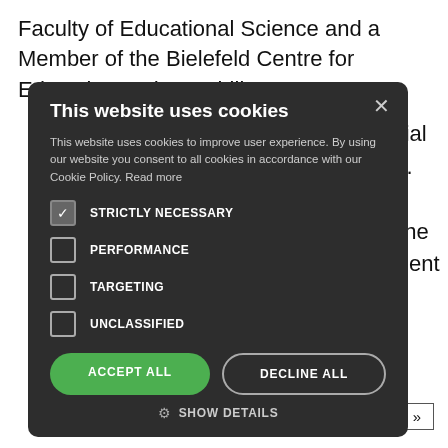Faculty of Educational Science and a Member of the Bielefeld Centre for Education and Capability
ional 'Social nferences. at the e sits on the Development nd was CA
[Figure (screenshot): Cookie consent modal dialog with dark background. Title: 'This website uses cookies'. Description text about cookie policy. Four checkboxes: STRICTLY NECESSARY (checked), PERFORMANCE, TARGETING, UNCLASSIFIED. Two buttons: ACCEPT ALL (green) and DECLINE ALL (outline). Show Details link with gear icon.]
... »